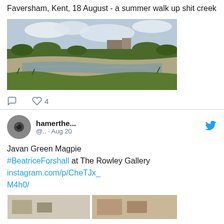Faversham, Kent, 18 August - a summer walk up shit creek
[Figure (photo): A creek or river scene with muddy/shallow water, grassy banks, trees and a building in the background under a cloudy sky]
0 comments, 4 likes
hamerthe... @.. · Aug 20
Javan Green Magpie #BeatriceForshall at The Rowley Gallery instagram.com/p/CheTJx_M4h0/
[Figure (photo): Bottom portion of a tweet image, partially visible, showing what appears to be two side-by-side photos]